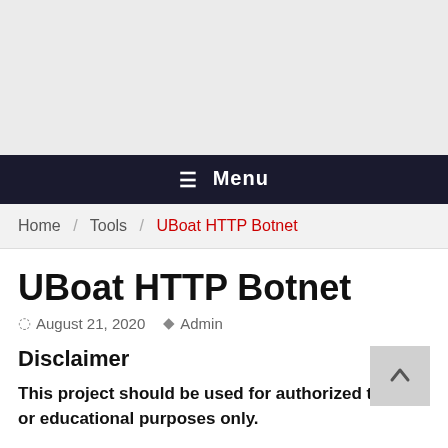[Figure (other): Gray advertisement/banner area at the top of the page]
≡ Menu
Home / Tools / UBoat HTTP Botnet
UBoat HTTP Botnet
August 21, 2020  Admin
Disclaimer
This project should be used for authorized testing or educational purposes only.